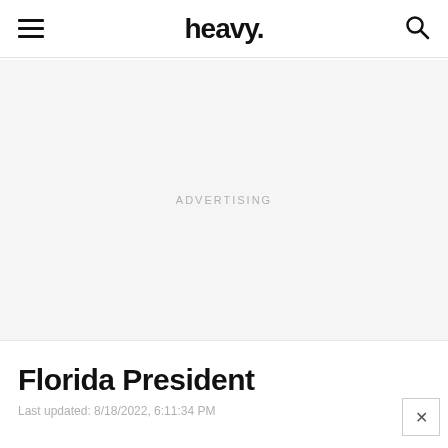heavy.
ADVERTISING
Florida President
Last updated: 8/18/2022, 6:11:34 PM